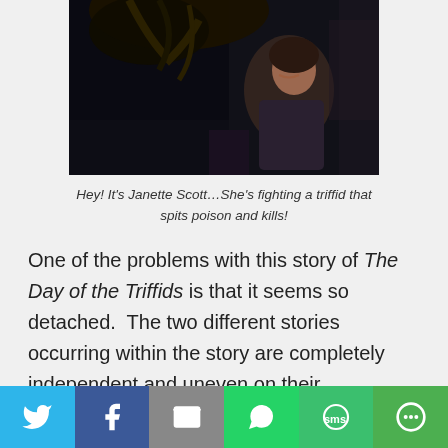[Figure (photo): Dark movie still showing a person (Janette Scott) appearing to struggle, with a plant-like creature looming overhead. Scene from The Day of the Triffids.]
Hey! It's Janette Scott…She's fighting a triffid that spits poison and kills!
One of the problems with this story of The Day of the Triffids is that it seems so detached. The two different stories occurring within the story are completely independent and uneven on their presentation. Masen and Susan seem to hold the majority of the story and interest. Whenever it switches to Tom and Karen, I just
[Figure (infographic): Social sharing bar with buttons: Twitter (blue), Facebook (dark blue), Email (gray), WhatsApp (green), SMS (green), More (green)]